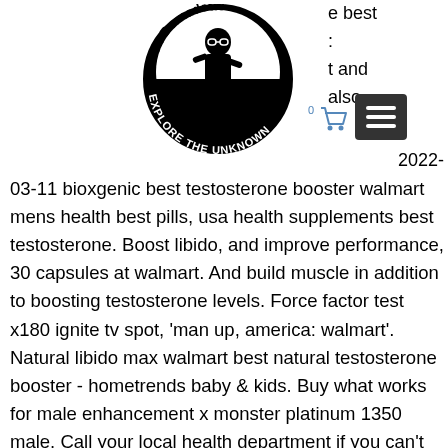[Figure (logo): A. Bernadette circular logo with a figure in the center and text 'EXPLORE THE UNKNOWN' along the bottom arc]
e best
:
t and
also
2022-03-11 bioxgenic best testosterone booster walmart mens health best pills, usa health supplements best testosterone. Boost libido, and improve performance, 30 capsules at walmart. And build muscle in addition to boosting testosterone levels. Force factor test x180 ignite tv spot, 'man up, america: walmart'. Natural libido max walmart best natural testosterone booster - hometrends baby &amp; kids. Buy what works for male enhancement x monster platinum 1350 male. Call your local health department if you can't be seen at an fqhc. Go to cvs and select walgreens and walmart testing sites at no cost. Look for no-cost testing. &quot;this is the sort of project that demonstrates that